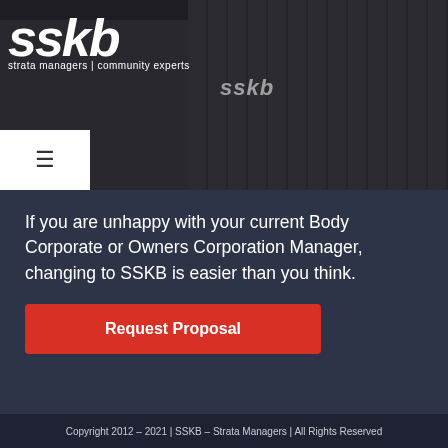[Figure (screenshot): SSKB website hero section showing building background with dark overlay and SSKB logo in top left]
sskb
strata managers | community experts
If you are unhappy with your current Body Corporate or Owners Corporation Manager, changing to SSKB is easier than you think.
Request Proposal
Copyright 2012 – 2021 | SSKB – Strata Managers | All Rights Reserved